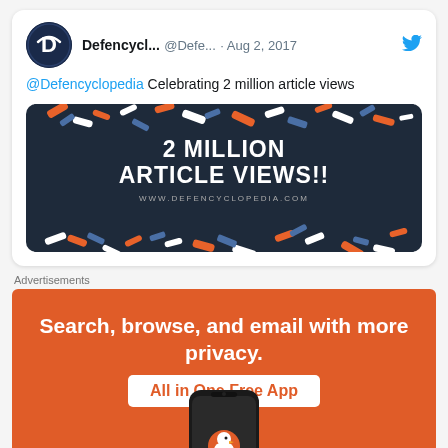[Figure (screenshot): Tweet from Defencyclopedia (@Defe...) posted Aug 2, 2017, celebrating 2 million article views, with a dark navy celebration banner showing '2 MILLION ARTICLE VIEWS!!' and confetti, alongside a Twitter bird icon.]
Advertisements
[Figure (screenshot): DuckDuckGo advertisement banner with orange background, text 'Search, browse, and email with more privacy. All in One Free App', with a phone showing DuckDuckGo duck logo.]